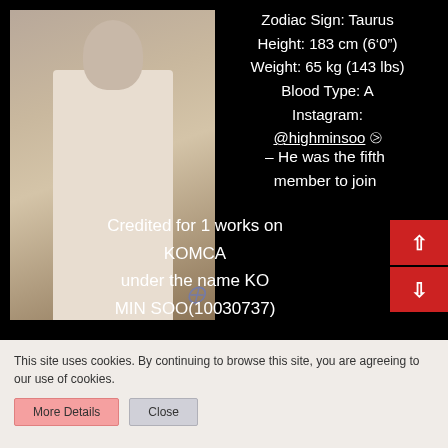[Figure (photo): Young Korean man in cream/beige suit standing in an interior setting]
Zodiac Sign: Taurus
Height: 183 cm (6'0")
Weight: 65 kg (143 lbs)
Blood Type: A
Instagram:
@highminsoo ⧁
– He was the fifth member to join
Credited for 1 works on KOMCA
under the name KO MIN SOO(10030737)
This site uses cookies. By continuing to browse this site, you are agreeing to our use of cookies.
More Details   Close